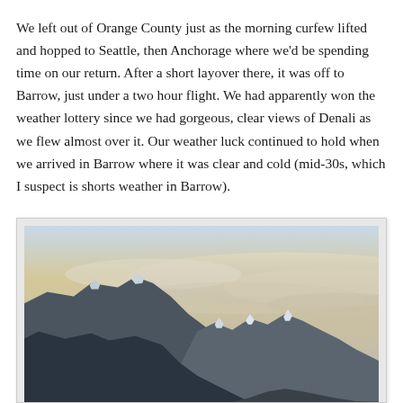We left out of Orange County just as the morning curfew lifted and hopped to Seattle, then Anchorage where we'd be spending time on our return. After a short layover there, it was off to Barrow, just under a two hour flight. We had apparently won the weather lottery since we had gorgeous, clear views of Denali as we flew almost over it. Our weather luck continued to hold when we arrived in Barrow where it was clear and cold (mid-30s, which I suspect is shorts weather in Barrow).
[Figure (photo): Aerial photograph taken from a plane window showing snow-capped mountain peaks (likely Denali/Alaska Range) with a sea of clouds in the background and golden/blue sky above.]